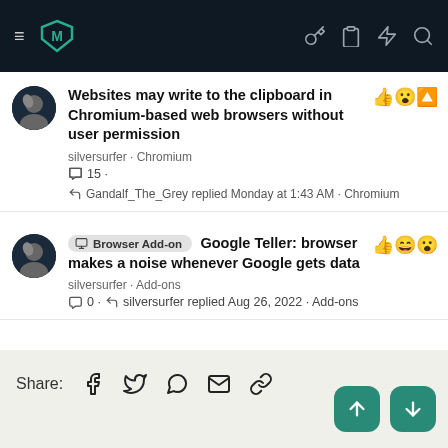[Figure (screenshot): Dark navigation bar with hamburger menu icon, teal shield logo, and icons for key, clipboard, lightning bolt, and search]
Websites may write to the clipboard in Chromium-based web browsers without user permission
silversurfer · Chromium
💬 15 ·
↩ Gandalf_The_Grey replied Monday at 1:43 AM · Chromium
Browser Add-on  Google Teller: browser makes a noise whenever Google gets data
silversurfer · Add-ons
💬 0 · ↩ silversurfer replied Aug 26, 2022 · Add-ons
Share: [Facebook] [Twitter] [WhatsApp] [Email] [Link]